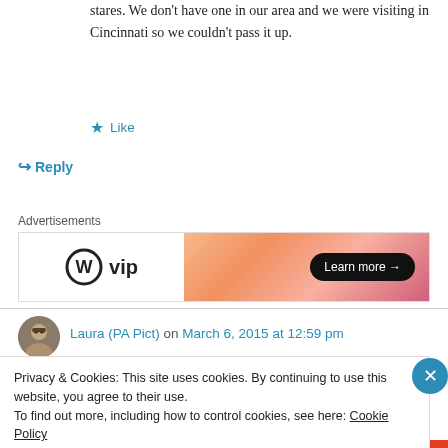stares. We don't have one in our area and we were visiting in Cincinnati so we couldn't pass it up.
★ Like
↪ Reply
Advertisements
[Figure (logo): WordPress VIP advertisement banner with 'WP vip' logo on left and orange gradient background with 'Learn more →' button on right]
Laura (PA Pict) on March 6, 2015 at 12:59 pm
Privacy & Cookies: This site uses cookies. By continuing to use this website, you agree to their use.
To find out more, including how to control cookies, see here: Cookie Policy
Close and accept